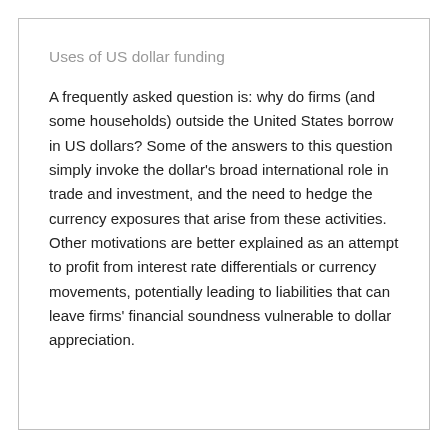Uses of US dollar funding
A frequently asked question is: why do firms (and some households) outside the United States borrow in US dollars? Some of the answers to this question simply invoke the dollar’s broad international role in trade and investment, and the need to hedge the currency exposures that arise from these activities. Other motivations are better explained as an attempt to profit from interest rate differentials or currency movements, potentially leading to liabilities that can leave firms’ financial soundness vulnerable to dollar appreciation.